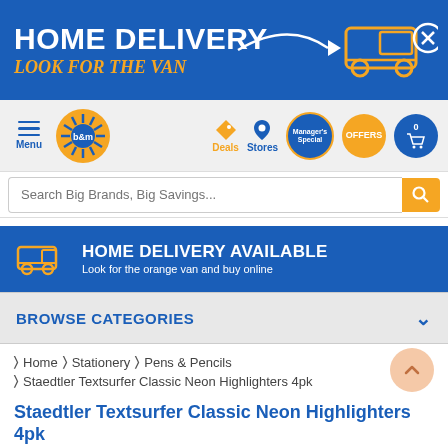[Figure (screenshot): B&M store website banner showing HOME DELIVERY / LOOK FOR THE VAN with van illustration and close button]
[Figure (screenshot): B&M website navigation bar with hamburger menu, logo, Deals, Stores, Manager's Special, Offers, and cart icons]
[Figure (screenshot): Search bar with placeholder text: Search Big Brands, Big Savings...]
[Figure (screenshot): Home Delivery Available banner with van icon: Look for the orange van and buy online]
BROWSE CATEGORIES
> Home > Stationery > Pens & Pencils
> Staedtler Textsurfer Classic Neon Highlighters 4pk
Staedtler Textsurfer Classic Neon Highlighters 4pk
Product code: 385717